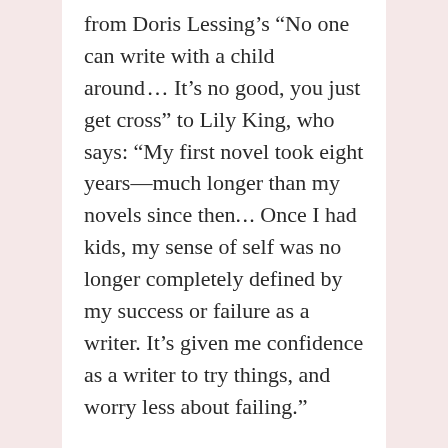from Doris Lessing’s “No one can write with a child around… It’s no good, you just get cross” to Lily King, who says: “My first novel took eight years—much longer than my novels since then. . . Once I had kids, my sense of self was no longer completely defined by my success or failure as a writer. It’s given me confidence as a writer to try things, and worry less about failing.”
The debate reminded me of how